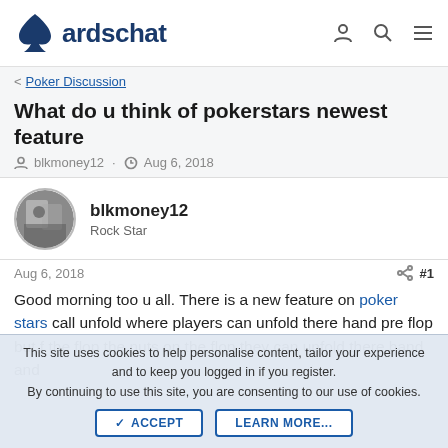cardschat
< Poker Discussion
What do u think of pokerstars newest feature
blkmoney12 · Aug 6, 2018
blkmoney12
Rock Star
Aug 6, 2018  #1
Good morning too u all. There is a new feature on poker stars call unfold where players can unfold there hand pre flop but f the flop the nuts on the flop they can unfold there hand and
This site uses cookies to help personalise content, tailor your experience and to keep you logged in if you register.
By continuing to use this site, you are consenting to our use of cookies.